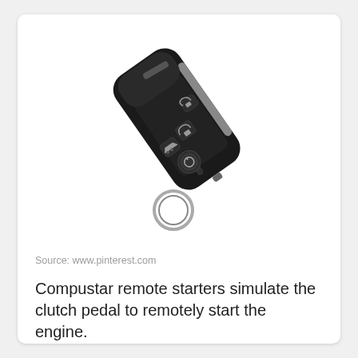[Figure (photo): A black Compustar remote car starter key fob with multiple buttons and a keyring attached, photographed at an angle on a white background.]
Source: www.pinterest.com
Compustar remote starters simulate the clutch pedal to remotely start the engine.